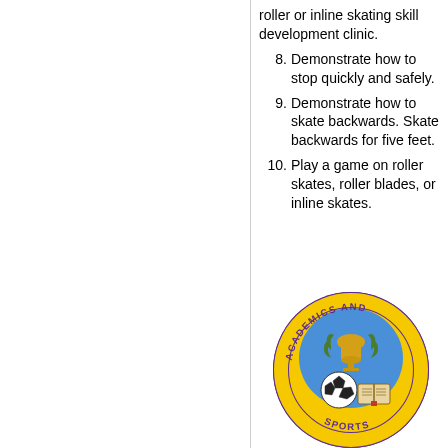roller or inline skating skill development clinic.
8. Demonstrate how to stop quickly and safely.
9. Demonstrate how to skate backwards. Skate backwards for five feet.
10. Play a game on roller skates, roller blades, or inline skates.
[Figure (illustration): Circular embroidered patch for Academics and Sports, featuring soccer ball, trophy with laurel, and open book on blue and yellow background with purple border.]